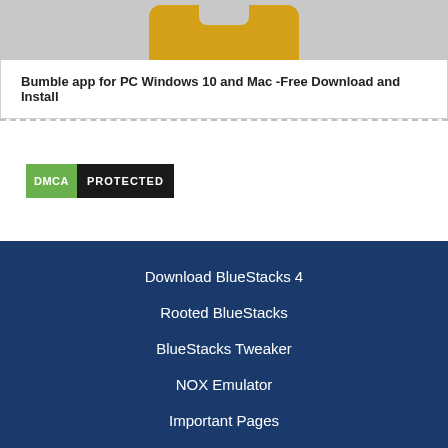[Figure (illustration): Bumble app icon displayed on a grey background - golden/yellow rounded rectangle with a notch cutout at the top]
Bumble app for PC Windows 10 and Mac -Free Download and Install
[Figure (logo): DMCA PROTECTED badge - green box with DMCA text and black box with PROTECTED text]
Download BlueStacks 4
Rooted BlueStacks
BlueStacks Tweaker
NOX Emulator
Important Pages